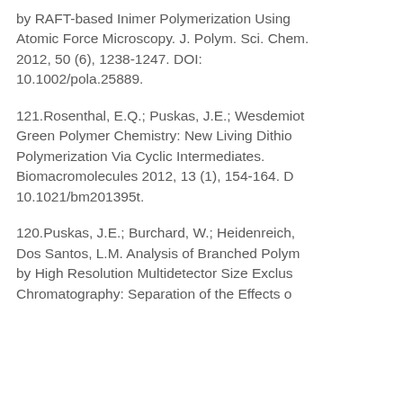by RAFT-based Inimer Polymerization Using Atomic Force Microscopy. J. Polym. Sci. Chem. 2012, 50 (6), 1238-1247. DOI: 10.1002/pola.25889.
121.Rosenthal, E.Q.; Puskas, J.E.; Wesdemiot... Green Polymer Chemistry: New Living Dithio... Polymerization Via Cyclic Intermediates. Biomacromolecules 2012, 13 (1), 154-164. DOI: 10.1021/bm201395t.
120.Puskas, J.E.; Burchard, W.; Heidenreich, ...; Dos Santos, L.M. Analysis of Branched Polym... by High Resolution Multidetector Size Exclus... Chromatography: Separation of the Effects o...